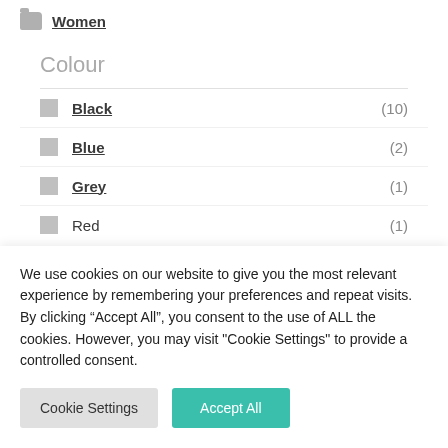Women
Colour
Black (10)
Blue (2)
Grey (1)
Red (1)
We use cookies on our website to give you the most relevant experience by remembering your preferences and repeat visits. By clicking “Accept All”, you consent to the use of ALL the cookies. However, you may visit “Cookie Settings” to provide a controlled consent.